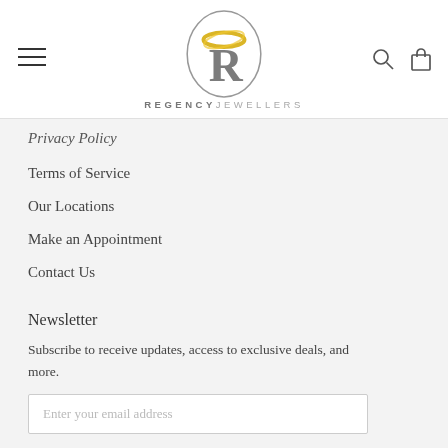REGENCY JEWELLERS
Privacy Policy
Terms of Service
Our Locations
Make an Appointment
Contact Us
Newsletter
Subscribe to receive updates, access to exclusive deals, and more.
Enter your email address